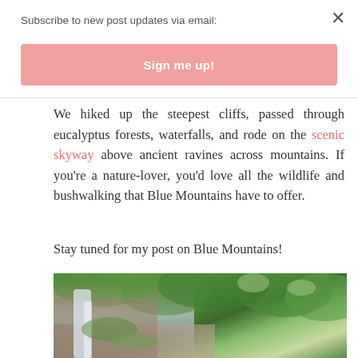Subscribe to new post updates via email:
Sign me up!
We hiked up the steepest cliffs, passed through eucalyptus forests, waterfalls, and rode on the scenic skyway above ancient ravines across mountains. If you're a nature-lover, you'd love all the wildlife and bushwalking that Blue Mountains have to offer.
Stay tuned for my post on Blue Mountains!
[Figure (photo): Photo of a waterfall cascading over mossy rocks surrounded by lush green forest trees in Blue Mountains]